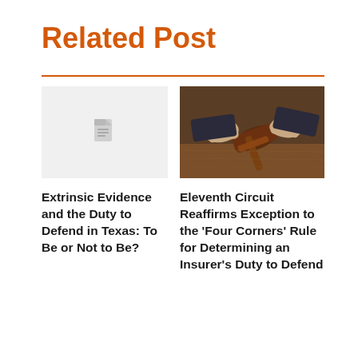Related Post
[Figure (illustration): Gray placeholder image with document icon]
Extrinsic Evidence and the Duty to Defend in Texas: To Be or Not to Be?
[Figure (photo): Close-up photo of a judge's gavel being struck on a wooden surface, hands visible in business suit sleeves]
Eleventh Circuit Reaffirms Exception to the 'Four Corners' Rule for Determining an Insurer's Duty to Defend